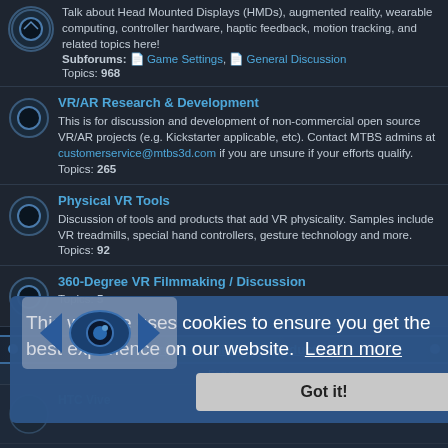Talk about Head Mounted Displays (HMDs), augmented reality, wearable computing, controller hardware, haptic feedback, motion tracking, and related topics here!
Subforums: Game Settings, General Discussion
Topics: 968
VR/AR Research & Development
This is for discussion and development of non-commercial open source VR/AR projects (e.g. Kickstarter applicable, etc). Contact MTBS admins at customerservice@mtbs3d.com if you are unsure if your efforts qualify.
Topics: 265
Physical VR Tools
Discussion of tools and products that add VR physicality. Samples include VR treadmills, special hand controllers, gesture technology and more.
Topics: 92
360-Degree VR Filmmaking / Discussion
Topics: 5
Immersive Technology Products
Forum
HTC Vive
Oculus VR
Topics: 1948
Sony PSVR
Topics: ?
This website uses cookies to ensure you get the best experience on our website. Learn more
Got it!